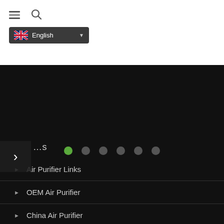[Figure (screenshot): Navigation bar with hamburger menu icon, search icon, and English language selector button with UK flag]
[Figure (infographic): Dark banner/slider area with 6 dot indicators (first dot active in green)]
Air Purifier Links
OEM Air Purifier
China Air Purifier
Olansi Air Purifier
press machine
Outdoor PoE